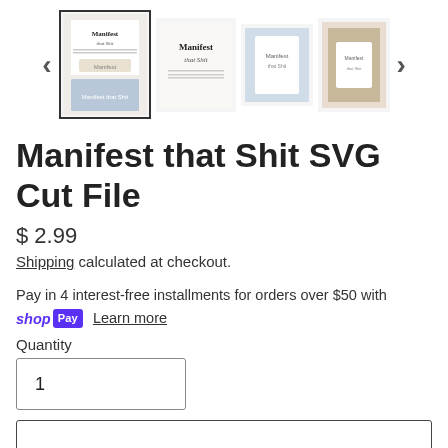[Figure (screenshot): Product image gallery with 4 thumbnails and navigation arrows. First thumbnail is selected (with border). Images show 'Manifest that Shit' SVG cut file product on t-shirt mockups.]
Manifest that Shit SVG Cut File
$ 2.99
Shipping calculated at checkout.
Pay in 4 interest-free installments for orders over $50 with shop Pay  Learn more
Quantity
1